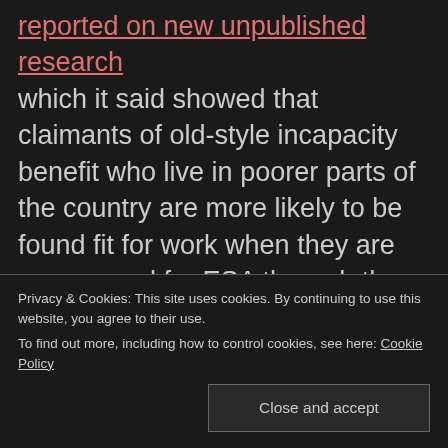reported on new unpublished research which it said showed that claimants of old-style incapacity benefit who live in poorer parts of the country are more likely to be found fit for work when they are reassessed for ESA through the work capability assessment (WCA) than those in better-off areas.
Lewis said the findings – due to be
Privacy & Cookies: This site uses cookies. By continuing to use this website, you agree to their use. To find out more, including how to control cookies, see here: Cookie Policy